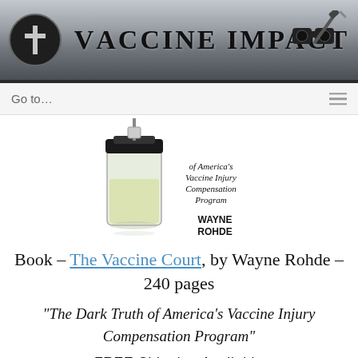Vaccine Impact
[Figure (logo): Vaccine Impact website header banner with cross logo on left, 'Vaccine Impact' title in center, binoculars and syringe icon on right, on a gray gradient background]
Go to...
[Figure (photo): Book cover of 'The Vaccine Court' by Wayne Rohde showing a vaccine vial with syringe, subtitle 'The Dark Truth of America's Vaccine Injury Compensation Program']
Book – The Vaccine Court, by Wayne Rohde – 240 pages
"The Dark Truth of America's Vaccine Injury Compensation Program"
FREE Shipping Available